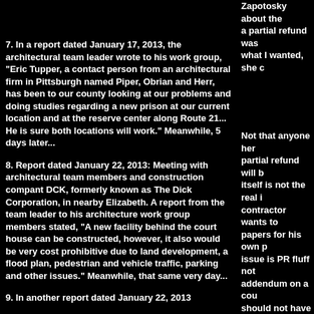Zapotosky about the... a partial refund was... what I wanted, she c...
7. In a report dated January 17, 2013, the architectural team leader wrote to his work group, "Eric Tupper, a contact person from an architectural firm in Pittsburgh named Piper, Obrian and Herr, has been to our county looking at our problems and doing studies regarding a new prison at our current location and at the reserve center along Route 21... He is sure both locations will work." Meanwhile, 5 days later...
8. Report dated January 22, 2013: Meeting with architectural team members and construction compant DCK, formerly known as The Dick Corporation, in nearby Elizabeth. A report from the team leader to his architecture work group members stated, "A new facility behind the court house can be constructed, however, it also would be very cost prohibitive due to land development, a flood plan, pedestrian and vehicle traffic, parking and other issues." Meanwhile, that same very day...
9. In another report dated January 22, 2013
Not that anyone here... partial refund will b... itself is not the real i... contractor wants to... papers for his own p... issue is PR fluff not... addendum on a cou... should not have bee... the packet to the co... do, either. He is enc... request. Should he r... then we can certainl...
In the meantime, th... sent, to learn in a si... response, how much... for RTK answers. St...